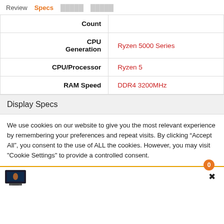Review  Specs  [faded text]  [faded text]
| Spec | Value |
| --- | --- |
| Count |  |
| CPU Generation | Ryzen 5000 Series |
| CPU/Processor | Ryzen 5 |
| RAM Speed | DDR4 3200MHz |
Display Specs
We use cookies on our website to give you the most relevant experience by remembering your preferences and repeat visits. By clicking “Accept All”, you consent to the use of ALL the cookies. However, you may visit "Cookie Settings" to provide a controlled consent.
[Figure (photo): Thumbnail image of a laptop]